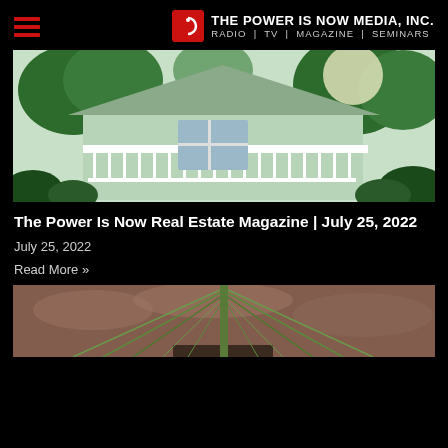THE POWER IS NOW MEDIA, INC. RADIO | TV | MAGAZINE | SEMINARS
[Figure (photo): Exterior photo of a house with white railings, porch, and green trees in the background]
The Power Is Now Real Estate Magazine | July 25, 2022
July 25, 2022
Read More »
[Figure (photo): Aerial or ground-level photo of a cable-stayed bridge with colorful cables against a cloudy sky]